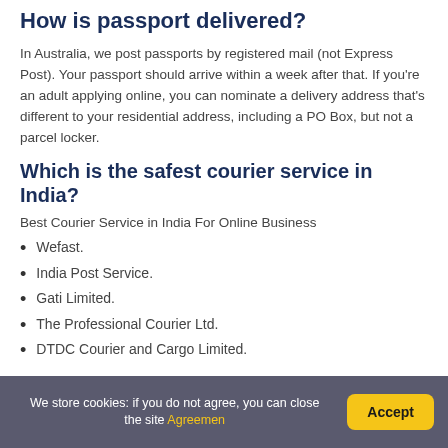How is passport delivered?
In Australia, we post passports by registered mail (not Express Post). Your passport should arrive within a week after that. If you’re an adult applying online, you can nominate a delivery address that’s different to your residential address, including a PO Box, but not a parcel locker.
Which is the safest courier service in India?
Best Courier Service in India For Online Business
Wefast.
India Post Service.
Gati Limited.
The Professional Courier Ltd.
DTDC Courier and Cargo Limited.
We store cookies: if you do not agree, you can close the site Agreemen